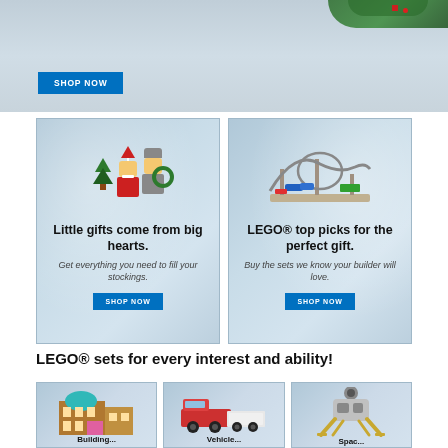[Figure (photo): Top holiday banner with SHOP NOW button, LEGO winter scene with Christmas tree greenery in the top right corner]
[Figure (photo): Left panel: LEGO BrickHeadz Santa Claus and Mrs. Claus figurines with small Christmas tree and wreath on decorative blue-grey background]
Little gifts come from big hearts.
Get everything you need to fill your stockings.
[Figure (photo): Right panel: LEGO roller coaster set on decorative blue-grey background]
LEGO® top picks for the perfect gift.
Buy the sets we know your builder will love.
LEGO® sets for every interest and ability!
[Figure (photo): Bottom left panel: LEGO Buildings set - colorful modular building]
[Figure (photo): Bottom center panel: LEGO Vehicles set - red truck with white trailer]
[Figure (photo): Bottom right panel: LEGO Space lander set - grey and gold lunar lander]